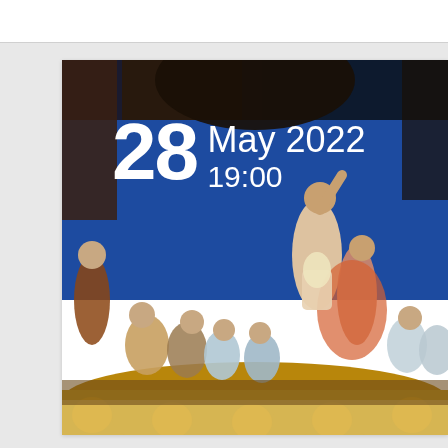[Figure (photo): Ballet or opera stage performance with performers in colorful costumes, a dancer elevated in the center, others seated around a golden stage platform, blue backdrop with dark hanging fabrics. Date overlay reads '28 May 2022 19:00' in white text.]